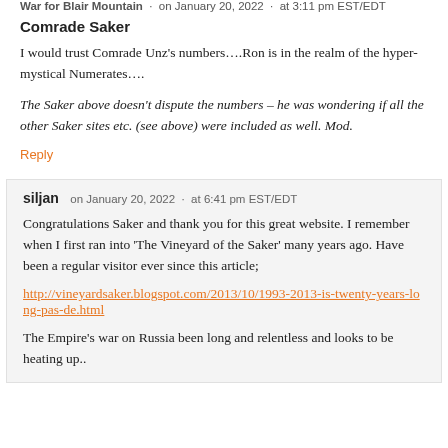War for Blair Mountain · on January 20, 2022 · at 3:11 pm EST/EDT
Comrade Saker
I would trust Comrade Unz's numbers….Ron is in the realm of the hyper-mystical Numerates….
The Saker above doesn't dispute the numbers – he was wondering if all the other Saker sites etc. (see above) were included as well. Mod.
Reply
siljan   on January 20, 2022 · at 6:41 pm EST/EDT
Congratulations Saker and thank you for this great website. I remember when I first ran into 'The Vineyard of the Saker' many years ago. Have been a regular visitor ever since this article;
http://vineyardsaker.blogspot.com/2013/10/1993-2013-is-twenty-years-long-pas-de.html
The Empire's war on Russia been long and relentless and looks to be heating up..